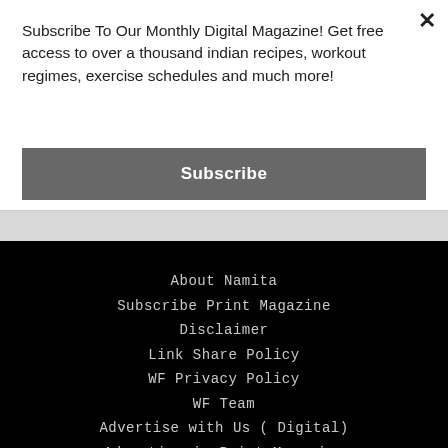Subscribe To Our Monthly Digital Magazine! Get free access to over a thousand indian recipes, workout regimes, exercise schedules and much more!
Subscribe
About Namita
Subscribe Print Magazine
Disclaimer
Link Share Policy
WF Privacy Policy
WF Team
Advertise with Us ( Digital)
Advertise in Print Magazine